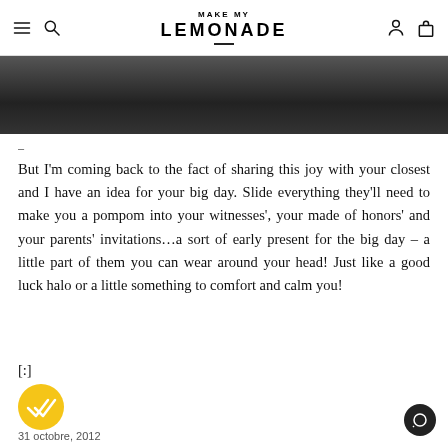MAKE MY LEMONADE
[Figure (photo): Dark photographic image strip, partially visible at top of content area]
–
But I'm coming back to the fact of sharing this joy with your closest and I have an idea for your big day. Slide everything they'll need to make you a pompom into your witnesses', your made of honors' and your parents' invitations…a sort of early present for the big day – a little part of them you can wear around your head! Just like a good luck halo or a little something to comfort and calm you!
[:]
[Figure (illustration): Yellow circle with double checkmark icon]
31 octobre, 2012